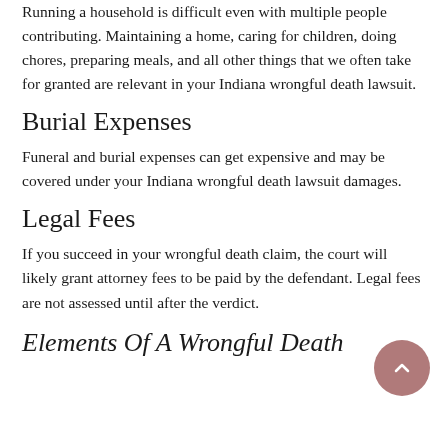Running a household is difficult even with multiple people contributing. Maintaining a home, caring for children, doing chores, preparing meals, and all other things that we often take for granted are relevant in your Indiana wrongful death lawsuit.
Burial Expenses
Funeral and burial expenses can get expensive and may be covered under your Indiana wrongful death lawsuit damages.
Legal Fees
If you succeed in your wrongful death claim, the court will likely grant attorney fees to be paid by the defendant. Legal fees are not assessed until after the verdict.
Elements Of A Wrongful Death